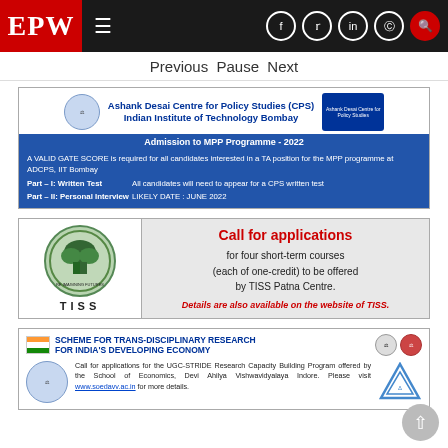EPW
Previous Pause Next
[Figure (illustration): Advertisement for Ashank Desai Centre for Policy Studies (CPS), Indian Institute of Technology Bombay. Admission to MPP Programme - 2022. A VALID GATE SCORE is required for all candidates interested in a TA position for the MPP programme at ADCPS, IIT Bombay. Part – I: Written Test – All candidates will need to appear for a CPS written test. Part – II: Personal Interview – LIKELY DATE : JUNE 2022.]
[Figure (illustration): Advertisement for TISS (Tata Institute of Social Sciences) – Call for applications for four short-term courses (each of one-credit) to be offered by TISS Patna Centre. Details are also available on the website of TISS.]
[Figure (illustration): Advertisement for SCHEME FOR TRANS-DISCIPLINARY RESEARCH FOR INDIA'S DEVELOPING ECONOMY. Call for applications for the UGC-STRIDE Research Capacity Building Program offered by the School of Economics, Devi Ahilya Vishwavidyalaya Indore. Please visit www.soedavv.ac.in for more details.]